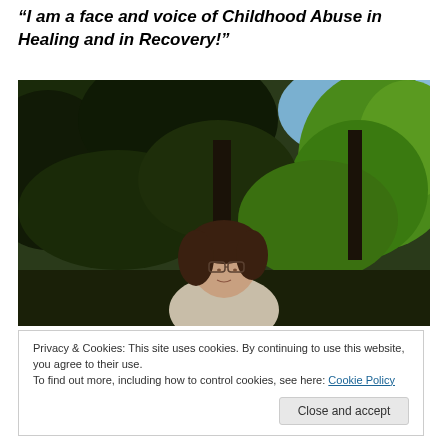“I am a face and voice of Childhood Abuse in Healing and in Recovery!”
[Figure (photo): A woman with dark hair and glasses standing outdoors in front of lush green trees and foliage on a sunny day.]
Privacy & Cookies: This site uses cookies. By continuing to use this website, you agree to their use.
To find out more, including how to control cookies, see here: Cookie Policy
Close and accept